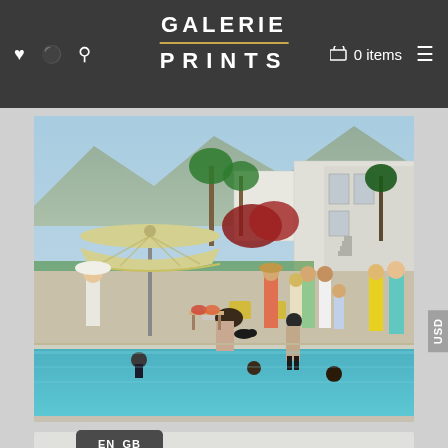GALERIE PRINTS — 0 items
[Figure (photo): A poolside party scene with multiple people gathered around a swimming pool next to a modernist house. Several people are in the pool. A large yellow-and-white striped umbrella is visible. The setting appears to be Palm Springs, California, mid-century modern style.]
USD
EN_GB